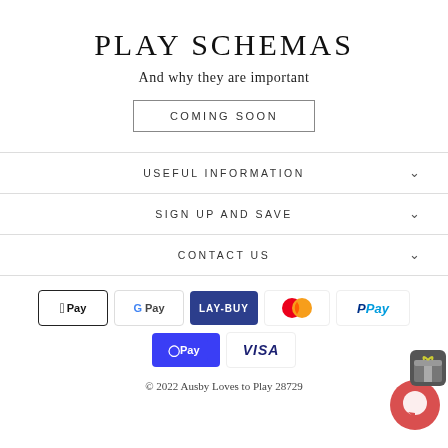PLAY SCHEMAS
And why they are important
COMING SOON
USEFUL INFORMATION
SIGN UP AND SAVE
CONTACT US
[Figure (other): Payment method logos: Apple Pay, Google Pay, Lay-Buy, Mastercard, PayPal, OPay, Visa]
© 2022 Ausby Loves to Play 28729